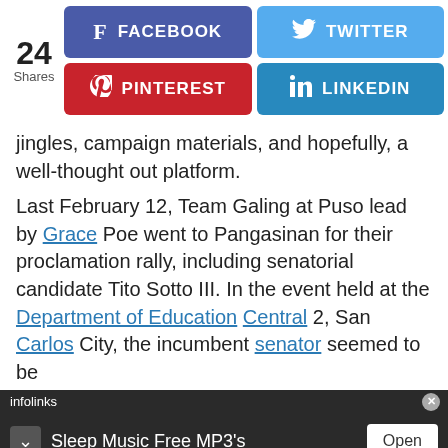[Figure (infographic): Social share bar showing 24 shares with Facebook, Twitter, Pinterest, and LinkedIn buttons]
jingles, campaign materials, and hopefully, a well-thought out platform.
Last February 12, Team Galing at Puso lead by Grace Poe went to Pangasinan for their proclamation rally, including senatorial candidate Tito Sotto III. In the event held at the Department of Education Central 2, San Carlos City, the incumbent senator seemed to be
[Figure (screenshot): Infolinks ad bar and Sleep Music Free MP3s popup advertisement with Open button]
[Figure (screenshot): Bottom banner advertisement: Purchasers of certain Roundup, HDX, or Ace brand weed killer products may be eligible for a cash payment from a class action settlement. Visit www.WeedKillerAdSettlement.com to learn more.]